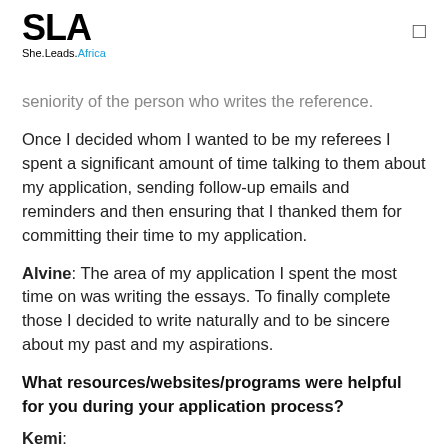SLA She.Leads.Africa
seniority of the person who writes the reference.
Once I decided whom I wanted to be my referees I spent a significant amount of time talking to them about my application, sending follow-up emails and reminders and then ensuring that I thanked them for committing their time to my application.
Alvine: The area of my application I spent the most time on was writing the essays. To finally complete those I decided to write naturally and to be sincere about my past and my aspirations.
What resources/websites/programs were helpful for you during your application process?
Kemi: